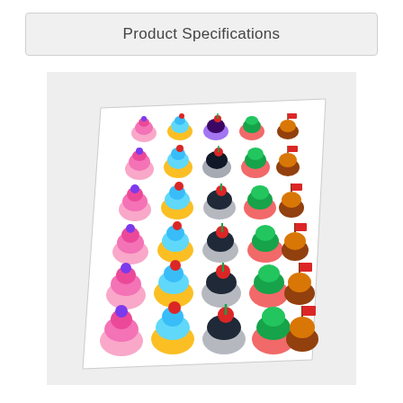Product Specifications
[Figure (photo): A sheet of colorful cupcake stickers arranged in rows. The sticker sheet contains multiple rows of cupcake designs in various styles: pink frosted cupcakes with purple decorations, yellow cupcakes with blue frosting, dark cupcakes with cherry on top, red and white cupcakes with green frosting and candy cane decoration, and brown cupcakes with a flag decoration. The sheet is photographed at a slight angle on a white/light grey background.]